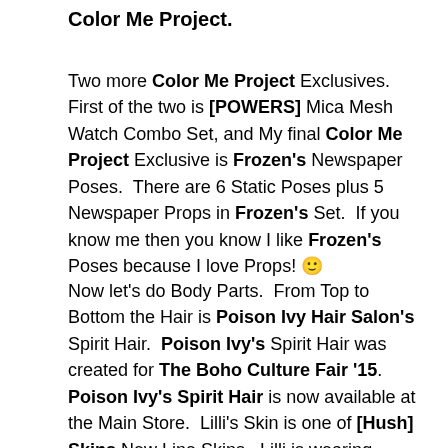Color Me Project.
Two more Color Me Project Exclusives.  First of the two is [POWERS] Mica Mesh Watch Combo Set, and My final Color Me Project Exclusive is Frozen's Newspaper Poses.  There are 6 Static Poses plus 5 Newspaper Props in Frozen's Set.  If you know me then you know I like Frozen's Poses because I love Props! 🙂
Now let's do Body Parts.  From Top to Bottom the Hair is Poison Ivy Hair Salon's Spirit Hair.  Poison Ivy's Spirit Hair was created for The Boho Culture Fair '15.  Poison Ivy's Spirit Hair is now available at the Main Store.  Lilli's Skin is one of [Hush] Skins New Line Skins.  Lilli is wearing [Hush] Skins Shannon in the Toffee Skin Tone, and  worn with Peach Blush & Sunset Lip Color Layers.  I also used [Hush] Skins Maitreya and SLink Hand / Feet